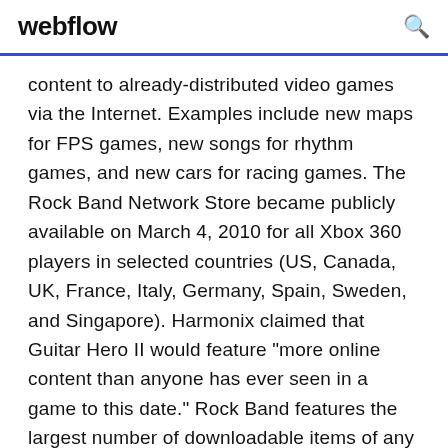webflow
content to already-distributed video games via the Internet. Examples include new maps for FPS games, new songs for rhythm games, and new cars for racing games. The Rock Band Network Store became publicly available on March 4, 2010 for all Xbox 360 players in selected countries (US, Canada, UK, France, Italy, Germany, Spain, Sweden, and Singapore). Harmonix claimed that Guitar Hero II would feature "more online content than anyone has ever seen in a game to this date." Rock Band features the largest number of downloadable items of any console video game, with a steady number of new... All downloadable songs released before October 26, 2010 are cross-